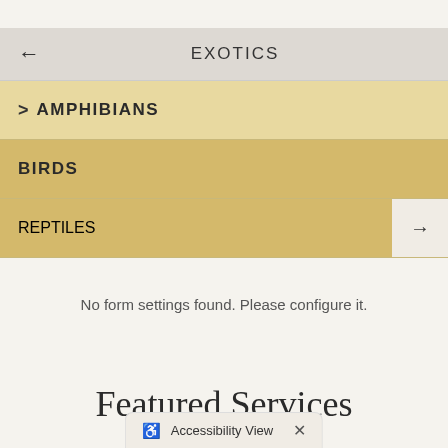EXOTICS
AMPHIBIANS
BIRDS
REPTILES
No form settings found. Please configure it.
Featured Services
Accessibility View